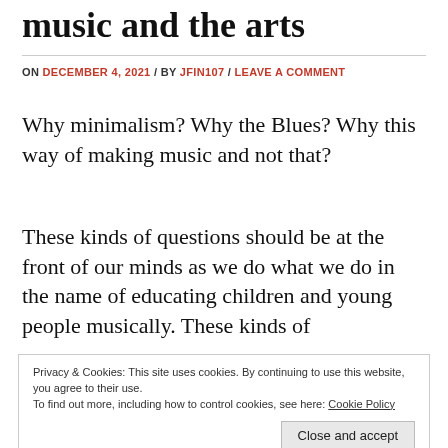music and the arts
ON DECEMBER 4, 2021 / BY JFIN107 / LEAVE A COMMENT
Why minimalism? Why the Blues? Why this way of making music and not that?
These kinds of questions should be at the front of our minds as we do what we do in the name of educating children and young people musically. These kinds of
Privacy & Cookies: This site uses cookies. By continuing to use this website, you agree to their use.
To find out more, including how to control cookies, see here: Cookie Policy
Close and accept
In thinking about our excitements, passions and